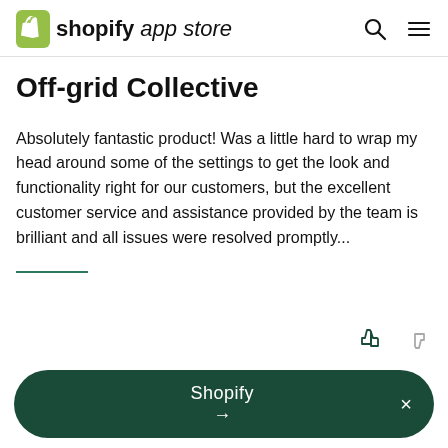shopify app store
Off-grid Collective
Absolutely fantastic product! Was a little hard to wrap my head around some of the settings to get the look and functionality right for our customers, but the excellent customer service and assistance provided by the team is brilliant and all issues were resolved promptly...
Shopify →